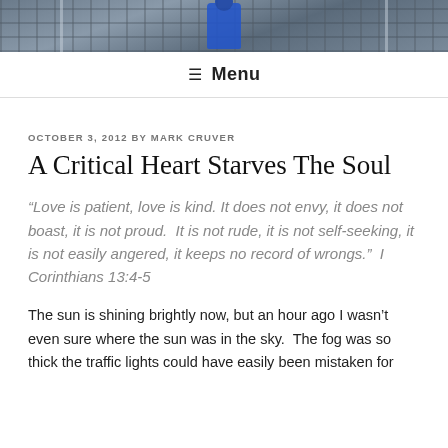[Figure (photo): Banner photo of a person in a blue jacket standing in a corridor with metal railings, viewed in slight perspective]
≡ Menu
OCTOBER 3, 2012 BY MARK CRUVER
A Critical Heart Starves The Soul
“Love is patient, love is kind. It does not envy, it does not boast, it is not proud.  It is not rude, it is not self-seeking, it is not easily angered, it keeps no record of wrongs.”  I Corinthians 13:4-5
The sun is shining brightly now, but an hour ago I wasn’t even sure where the sun was in the sky.  The fog was so thick the traffic lights could have easily been mistaken for